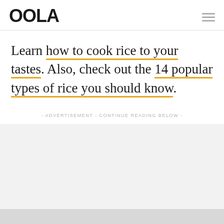OOLA
Learn how to cook rice to your tastes. Also, check out the 14 popular types of rice you should know.
- ADVERTISEMENT - CONTINUE READING BELOW -